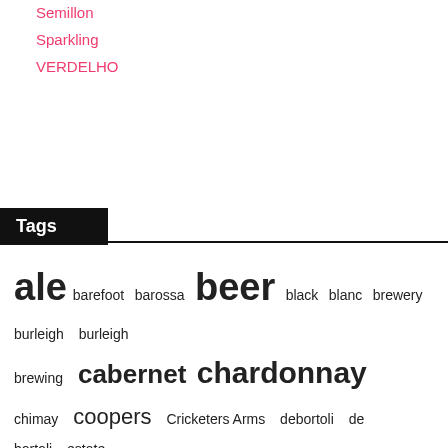Semillon
Sparkling
VERDELHO
Tags
ale barefoot barossa beer black blanc brewery burleigh burleigh brewing cabernet chardonnay chimay coopers Cricketers Arms debortoli de bortoli estate golden IPA james lager old pale pilsner pinot pinot noir porter red riesling rose rum